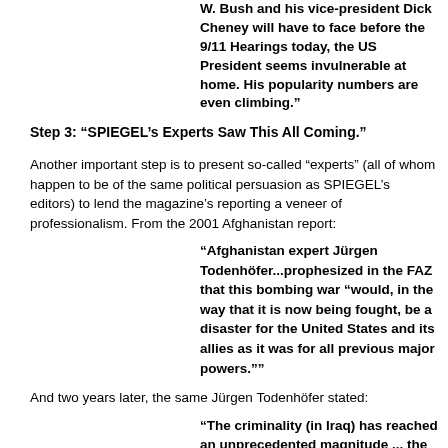W. Bush and his vice-president Dick Cheney will have to face before the 9/11 Hearings today, the US President seems invulnerable at home. His popularity numbers are even climbing.”
Step 3: “SPIEGEL’s Experts Saw This All Coming.”
Another important step is to present so-called “experts” (all of whom happen to be of the same political persuasion as SPIEGEL’s editors) to lend the magazine’s reporting a veneer of professionalism. From the 2001 Afghanistan report:
“Afghanistan expert Jürgen Todenhöfer...prophesized in the FAZ that this bombing war “would, in the way that it is now being fought, be a disaster for the United States and its allies as it was for all previous major powers.””
And two years later, the same Jürgen Todenhöfer stated:
“The criminality (in Iraq) has reached an unprecedented magnitude ... the bitterness of the people is rising ... Iraq is a long way from being an exemplary western-style democracy ... The American government made a disastrous mistake